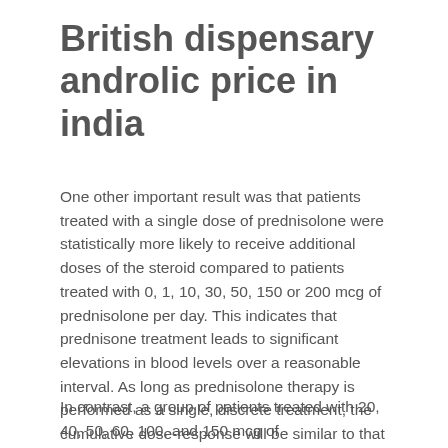British dispensary androlic price in india
One other important result was that patients treated with a single dose of prednisolone were statistically more likely to receive additional doses of the steroid compared to patients treated with 0, 1, 10, 30, 50, 150 or 200 mcg of prednisolone per day. This indicates that prednisone treatment leads to significant elevations in blood levels over a reasonable interval. As long as prednisolone therapy is performed as a single, discrete treatment, the cumulative dose-response will be similar to that of an average person taking 200 mcg of prednisolone daily for a period of weeks to months, list of prescription steroids.
In contrast, a group of patients treated with 20, 40, 50, 60, 100, and 150 mcg of